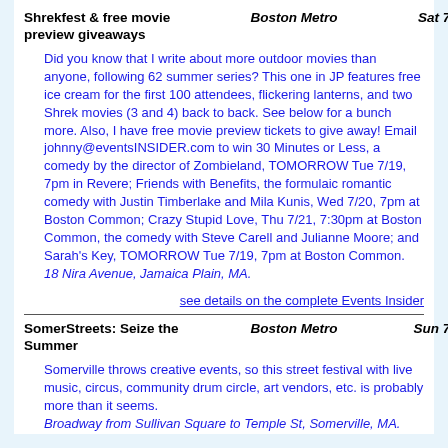Shrekfest & free movie preview giveaways | Boston Metro | Sat 7/23
Did you know that I write about more outdoor movies than anyone, following 62 summer series? This one in JP features free ice cream for the first 100 attendees, flickering lanterns, and two Shrek movies (3 and 4) back to back. See below for a bunch more. Also, I have free movie preview tickets to give away! Email johnny@eventsINSIDER.com to win 30 Minutes or Less, a comedy by the director of Zombieland, TOMORROW Tue 7/19, 7pm in Revere; Friends with Benefits, the formulaic romantic comedy with Justin Timberlake and Mila Kunis, Wed 7/20, 7pm at Boston Common; Crazy Stupid Love, Thu 7/21, 7:30pm at Boston Common, the comedy with Steve Carell and Julianne Moore; and Sarah's Key, TOMORROW Tue 7/19, 7pm at Boston Common. 18 Nira Avenue, Jamaica Plain, MA.
see details on the complete Events Insider
SomerStreets: Seize the Summer | Boston Metro | Sun 7/24
Somerville throws creative events, so this street festival with live music, circus, community drum circle, art vendors, etc. is probably more than it seems. Broadway from Sullivan Square to Temple St, Somerville, MA.